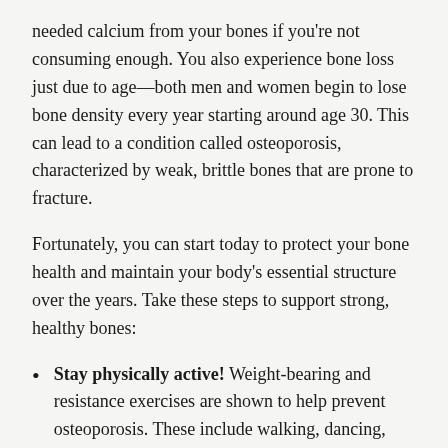needed calcium from your bones if you're not consuming enough. You also experience bone loss just due to age—both men and women begin to lose bone density every year starting around age 30. This can lead to a condition called osteoporosis, characterized by weak, brittle bones that are prone to fracture.
Fortunately, you can start today to protect your bone health and maintain your body's essential structure over the years. Take these steps to support strong, healthy bones:
Stay physically active! Weight-bearing and resistance exercises are shown to help prevent osteoporosis. These include walking, dancing, running, and lifting weights. (Talk to your healthcare professional before starting an exercise program.)
Eat well. The average diet provides some of the recommended calcium for adults. See below for some